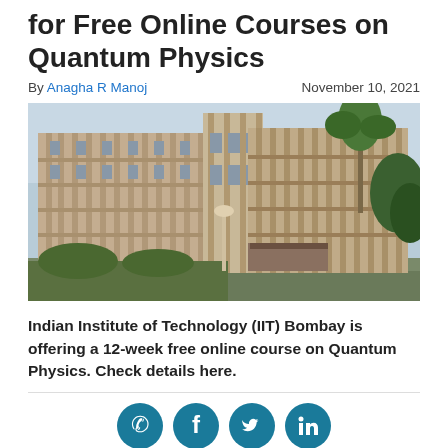for Free Online Courses on Quantum Physics
By Anagha R Manoj    November 10, 2021
[Figure (photo): Photograph of Indian Institute of Technology (IIT) Bombay main building, a multi-storey concrete structure with vertical fins, surrounded by trees and greenery.]
Indian Institute of Technology (IIT) Bombay is offering a 12-week free online course on Quantum Physics. Check details here.
[Figure (infographic): Social media sharing icons: WhatsApp, Facebook, Twitter, LinkedIn — circular teal/dark-cyan buttons]